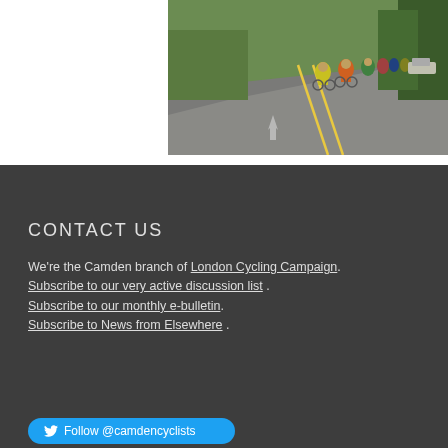[Figure (photo): Group of cyclists riding along a road with trees on the right side, wearing colorful clothing including yellow and orange, taken from behind]
CONTACT US
We're the Camden branch of London Cycling Campaign. Subscribe to our very active discussion list . Subscribe to our monthly e-bulletin. Subscribe to News from Elsewhere .
Follow @camdencyclists